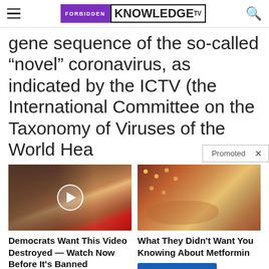FORBIDDEN KNOWLEDGE TV
gene sequence of the so-called “novel” coronavirus, as indicated by the ICTV (the International Committee on the Taxonomy of Viruses of the World Hea…
[Figure (screenshot): Promoted advertisement banner with two ad cards: left ad shows a video thumbnail of two people with a play button overlay, titled 'Democrats Want This Video Destroyed — Watch Now Before It’s Banned' with a 'Watch The Video' button. Right ad shows a medical image thumbnail titled 'What They Didn’t Want You Knowing About Metformin' with a 'Watch The Video' button. A 'Promoted x' label appears in the top right of the ad section.]